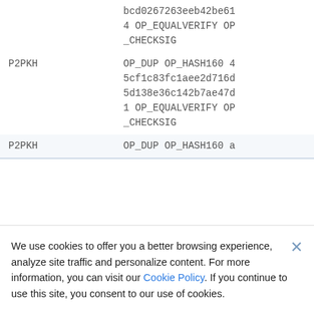| Type | Script |
| --- | --- |
|  | bcd0267263eeb42be61 4 OP_EQUALVERIFY OP _CHECKSIG |
| P2PKH | OP_DUP OP_HASH160 4 5cf1c83fc1aee2d716d 5d138e36c142b7ae47d 1 OP_EQUALVERIFY OP _CHECKSIG |
| P2PKH | OP_DUP OP_HASH160 a |
We use cookies to offer you a better browsing experience, analyze site traffic and personalize content. For more information, you can visit our Cookie Policy. If you continue to use this site, you consent to our use of cookies.